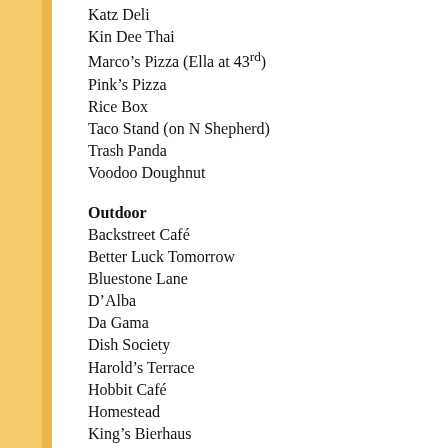Katz Deli
Kin Dee Thai
Marco's Pizza (Ella at 43rd)
Pink's Pizza
Rice Box
Taco Stand (on N Shepherd)
Trash Panda
Voodoo Doughnut
Outdoor
Backstreet Café
Better Luck Tomorrow
Bluestone Lane
D'Alba
Da Gama
Dish Society
Harold's Terrace
Hobbit Café
Homestead
King's Bierhaus
Maison Pucha
Rainbow Lodge
Savoir
Tiny Boxwoods